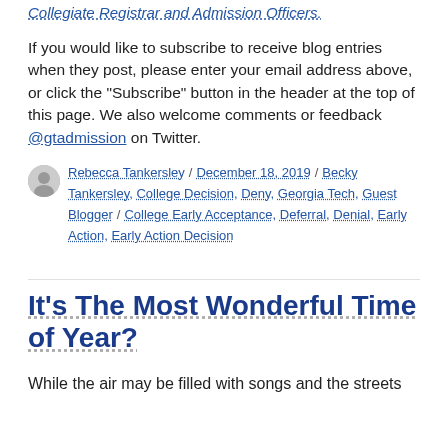Collegiate Registrar and Admission Officers.
If you would like to subscribe to receive blog entries when they post, please enter your email address above, or click the “Subscribe” button in the header at the top of this page. We also welcome comments or feedback @gtadmission on Twitter.
Rebecca Tankersley / December 18, 2019 / Becky Tankersley, College Decision, Deny, Georgia Tech, Guest Blogger / College Early Acceptance, Deferral, Denial, Early Action, Early Action Decision
It’s The Most Wonderful Time of Year?
While the air may be filled with songs and the streets